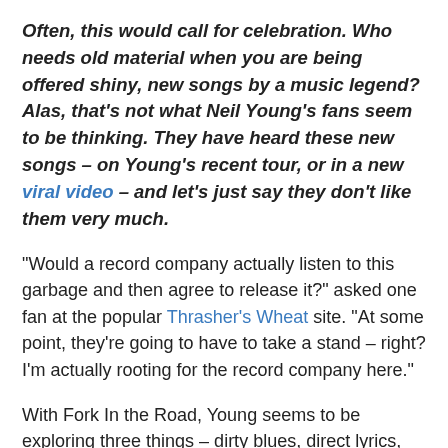Often, this would call for celebration. Who needs old material when you are being offered shiny, new songs by a music legend? Alas, that's not what Neil Young's fans seem to be thinking. They have heard these new songs – on Young's recent tour, or in a new viral video – and let's just say they don't like them very much.
"Would a record company actually listen to this garbage and then agree to release it?" asked one fan at the popular Thrasher's Wheat site. "At some point, they're going to have to take a stand – right? I'm actually rooting for the record company here."
With Fork In the Road, Young seems to be exploring three things – dirty blues, direct lyrics, and his LincVolt electric car project. That all sounds well and good until you hear the opening lyrics of the title track.